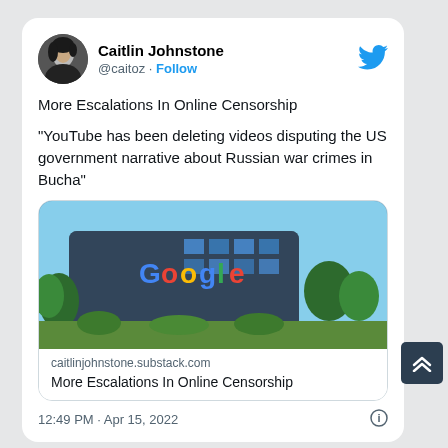[Figure (screenshot): Twitter/X post by Caitlin Johnstone (@caitoz) with Follow button and Twitter bird logo. Tweet text: 'More Escalations In Online Censorship' and quote 'YouTube has been deleting videos disputing the US government narrative about Russian war crimes in Bucha'. Includes a link card with Google building photo, domain caitlinjohnstone.substack.com, and title 'More Escalations In Online Censorship'. Timestamp: 12:49 PM · Apr 15, 2022.]